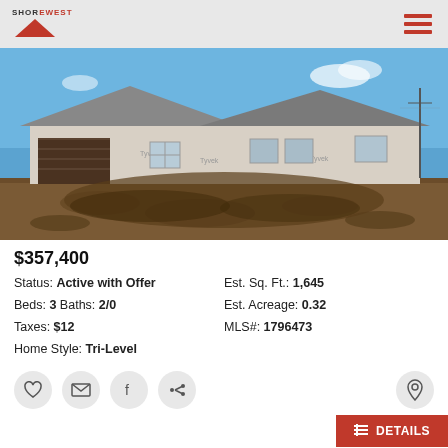Shorewest
[Figure (photo): House under construction with wrap exterior, gravel and dirt yard, blue sky background]
$357,400
Status: Active with Offer | Est. Sq. Ft.: 1,645 | Beds: 3 Baths: 2/0 | Est. Acreage: 0.32 | Taxes: $12 | MLS#: 1796473 | Home Style: Tri-Level